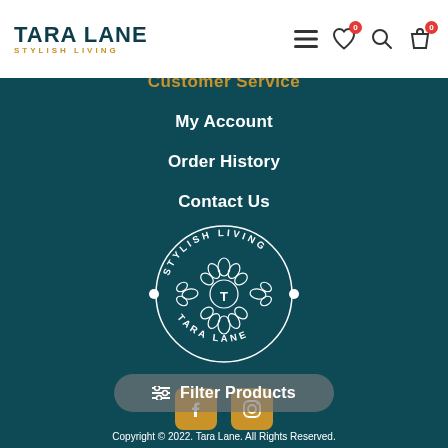[Figure (logo): Tara Lane Stylish Living logo - dark teal text with gold subtitle]
Customer Service
My Account
Order History
Contact Us
[Figure (logo): Tara Lane Stylish Living circular emblem with floral/botanical ornament, white on teal background]
[Figure (other): Facebook and Instagram social media icons in gold/amber rounded square style]
Filter Products
Copyright © 2022. Tara Lane. All Rights Reserved.